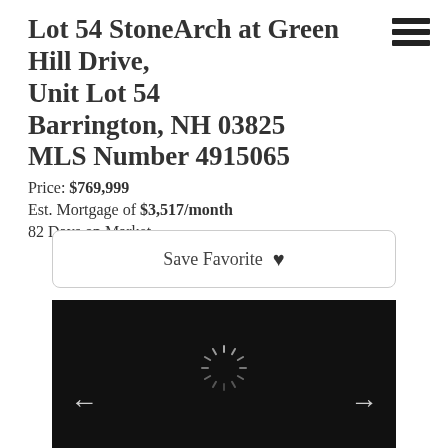Lot 54 StoneArch at Green Hill Drive, Unit Lot 54 Barrington, NH 03825 MLS Number 4915065
Price: $769,999
Est. Mortgage of $3,517/month
82 Days on Market
Save Favorite ♥
[Figure (photo): Black loading screen with a spinner and left/right navigation arrows, indicating a property photo carousel in loading state.]